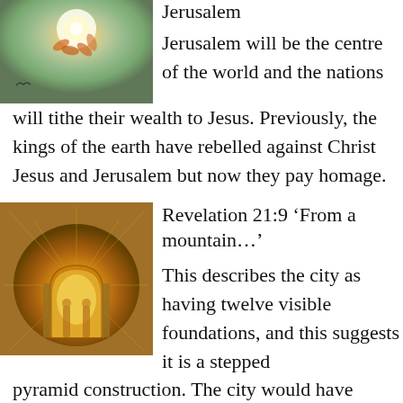[Figure (illustration): Artistic illustration with glowing orb/sun with orange flower-like shapes on a green background, small bird silhouette at bottom left]
Jerusalem
Jerusalem will be the centre of the world and the nations will tithe their wealth to Jesus. Previously, the kings of the earth have rebelled against Christ Jesus and Jerusalem but now they pay homage.
[Figure (illustration): Artistic illustration of a golden glowing city/temple with figures in arched doorways, radiating golden light patterns]
Revelation 21:9 ‘From a mountain…’
This describes the city as having twelve visible foundations, and this suggests it is a stepped pyramid construction. The city would have twelve levels, decreasing in size, each one built on its own foundation, ascending to form a